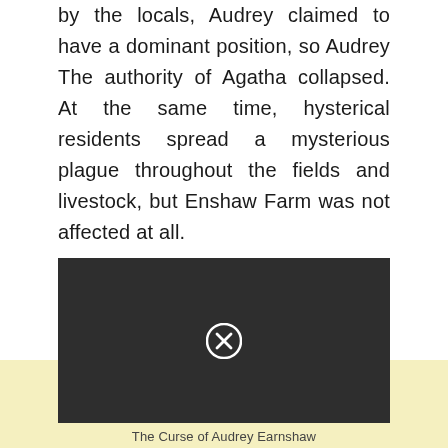by the locals, Audrey claimed to have a dominant position, so Audrey The authority of Agatha collapsed. At the same time, hysterical residents spread a mysterious plague throughout the fields and livestock, but Enshaw Farm was not affected at all.
[Figure (other): Dark video player interface with a close/dismiss button (circled X) at the center bottom]
The Curse of Audrey Earnshaw